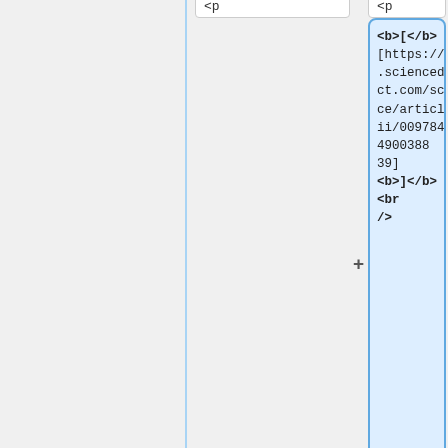<p
<p
<b>[</b>
[https://www.sciencedirect.com/science/article/pii/00978493949000388 39]
<b>]</b><br />
<p><br />
</p>
<p><br />
</p>
<b>[</b>
[https://www.sciencedirect.com/science/article/pii/00978493949000388 39]
<b>]</b><br />